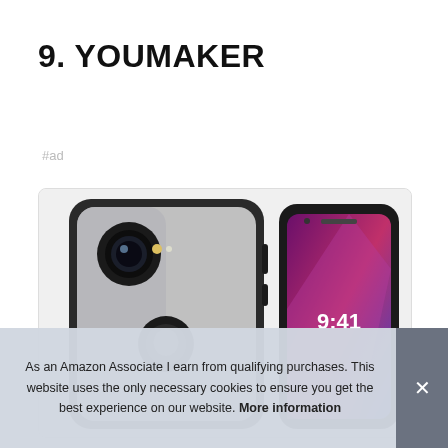9. YOUMAKER
#ad
[Figure (photo): Product photo showing two iPhone cases from YOUMAKER brand — a back view (black/silver protective case with camera cutout and Apple logo) and a front view (black frame with screen visible showing 9:41 time) on a white background.]
As an Amazon Associate I earn from qualifying purchases. This website uses the only necessary cookies to ensure you get the best experience on our website. More information